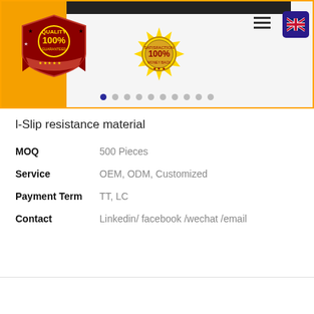[Figure (screenshot): Product page banner with quality guarantee badges, navigation dots, hamburger menu, and UK flag language selector]
l-Slip resistance material
| MOQ | 500 Pieces |
| Service | OEM, ODM, Customized |
| Payment Term | TT, LC |
| Contact | Linkedin/ facebook /wechat /email |
[Figure (illustration): Six empty social media circles and a Chat Online button]